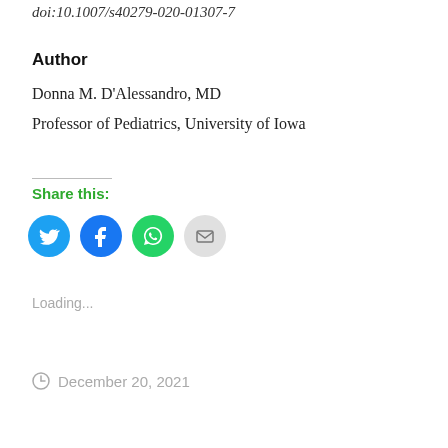doi:10.1007/s40279-020-01307-7
Author
Donna M. D'Alessandro, MD
Professor of Pediatrics, University of Iowa
Share this:
[Figure (infographic): Four social share icon buttons: Twitter (blue circle), Facebook (blue circle), WhatsApp (green circle), Email (gray circle)]
Loading...
December 20, 2021